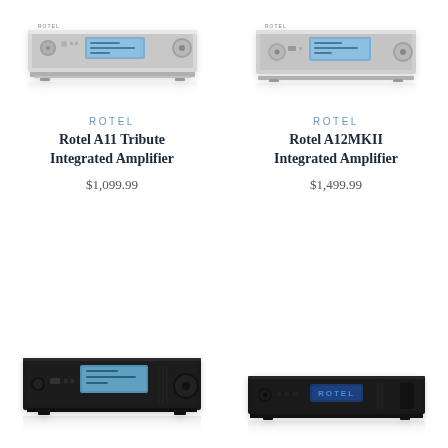[Figure (photo): Rotel A11 Tribute Integrated Amplifier, silver finish, front view]
[Figure (photo): Rotel A12MKII Integrated Amplifier, silver finish, front view]
ROTEL
Rotel A11 Tribute Integrated Amplifier
$1,099.99
ROTEL
Rotel A12MKII Integrated Amplifier
$1,499.99
[Figure (photo): Rotel integrated amplifier, black finish, front view, bottom left]
[Figure (photo): Rotel device, black finish, front view with blue ROTEL badge, bottom right]